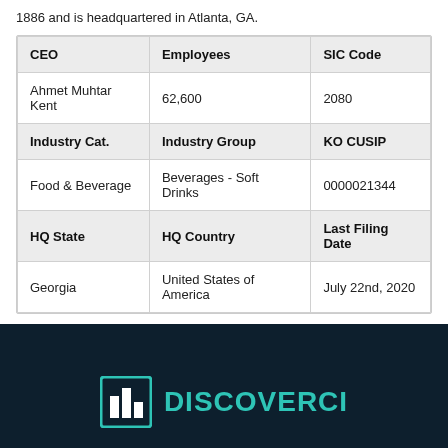1886 and is headquartered in Atlanta, GA.
| CEO | Employees | SIC Code |
| --- | --- | --- |
| Ahmet Muhtar Kent | 62,600 | 2080 |
| Industry Cat. | Industry Group | KO CUSIP |
| Food & Beverage | Beverages - Soft Drinks | 0000021344 |
| HQ State | HQ Country | Last Filing Date |
| Georgia | United States of America | July 22nd, 2020 |
[Figure (logo): DiscoverCI logo with teal bar chart icon and teal text on dark navy background]